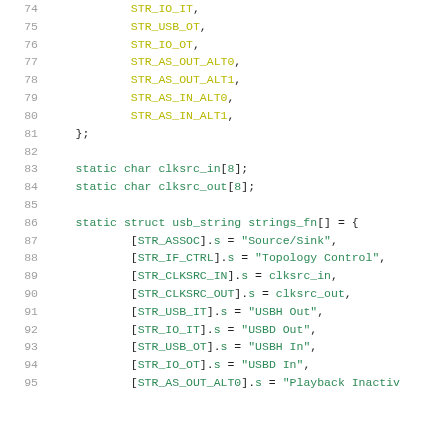Source code listing lines 74-95 showing C code with enum values and static struct initialization for USB audio strings.